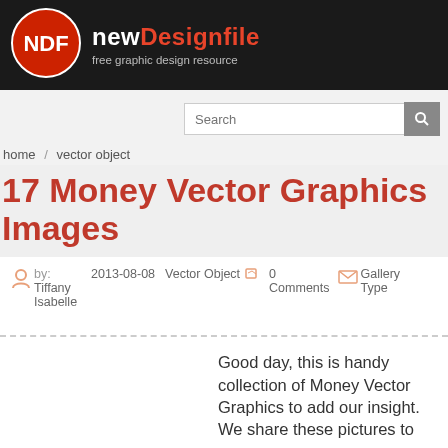newDesignfile — free graphic design resource
Search
home / vector object
17 Money Vector Graphics Images
by: Tiffany Isabelle   2013-08-08   Vector Object   0 Comments   Gallery Type
Good day, this is handy collection of Money Vector Graphics to add our insight. We share these pictures to